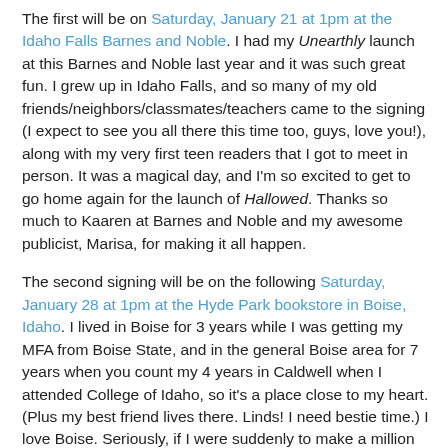The first will be on Saturday, January 21 at 1pm at the Idaho Falls Barnes and Noble. I had my Unearthly launch at this Barnes and Noble last year and it was such great fun. I grew up in Idaho Falls, and so many of my old friends/neighbors/classmates/teachers came to the signing (I expect to see you all there this time too, guys, love you!), along with my very first teen readers that I got to meet in person. It was a magical day, and I'm so excited to get to go home again for the launch of Hallowed. Thanks so much to Kaaren at Barnes and Noble and my awesome publicist, Marisa, for making it all happen.
The second signing will be on the following Saturday, January 28 at 1pm at the Hyde Park bookstore in Boise, Idaho. I lived in Boise for 3 years while I was getting my MFA from Boise State, and in the general Boise area for 7 years when you count my 4 years in Caldwell when I attended College of Idaho, so it's a place close to my heart. (Plus my best friend lives there. Linds! I need bestie time.) I love Boise. Seriously, if I were suddenly to make a million dollars, I would probably pack up my family and move there. It is a great town.